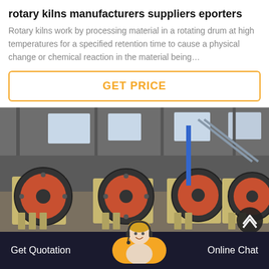rotary kilns manufacturers suppliers eporters
Rotary kilns work by processing material in a rotating drum at high temperatures for a specified retention time to cause a physical change or chemical reaction in the material being…
GET PRICE
[Figure (photo): Industrial rotary kiln machinery with large red and black wheels/drums in a factory warehouse setting]
Get Quotation   Online Chat